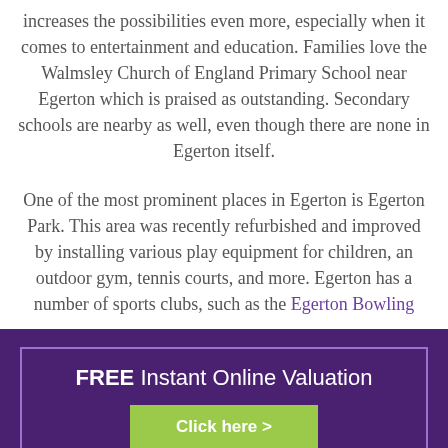increases the possibilities even more, especially when it comes to entertainment and education. Families love the Walmsley Church of England Primary School near Egerton which is praised as outstanding. Secondary schools are nearby as well, even though there are none in Egerton itself.
One of the most prominent places in Egerton is Egerton Park. This area was recently refurbished and improved by installing various play equipment for children, an outdoor gym, tennis courts, and more. Egerton has a number of sports clubs, such as the Egerton Bowling
[Figure (infographic): Purple banner with white border containing 'FREE Instant Online Valuation' text and a green 'Click here >' button]